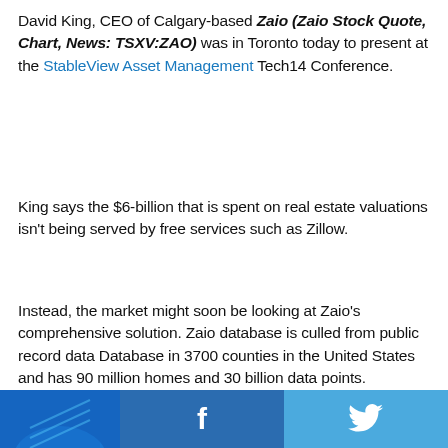David King, CEO of Calgary-based Zaio (Zaio Stock Quote, Chart, News: TSXV:ZAO) was in Toronto today to present at the StableView Asset Management Tech14 Conference.
King says the $6-billion that is spent on real estate valuations isn't being served by free services such as Zillow.
Instead, the market might soon be looking at Zaio's comprehensive solution. Zaio database is culled from public record data Database in 3700 counties in the United States and has 90 million homes and 30 billion data points.
[Figure (other): Social media bar at bottom: partial photo on left (blue background), Facebook icon (f) in center on darker blue, Twitter bird icon on right on lighter blue]